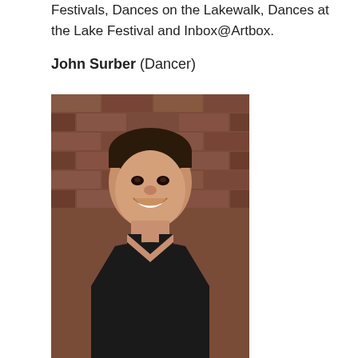Festivals, Dances on the Lakewalk, Dances at the Lake Festival and Inbox@Artbox.
John Surber (Dancer)
[Figure (photo): Headshot of John Surber, a young man smiling, wearing a black tank top, photographed against a brick wall background.]